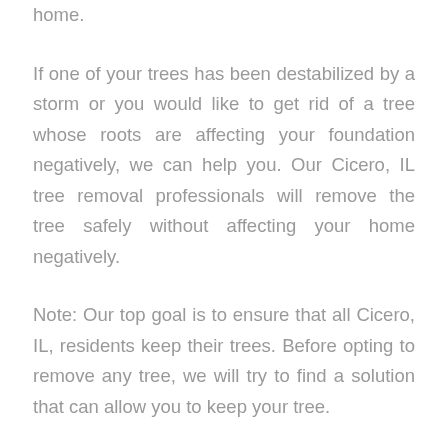home.
If one of your trees has been destabilized by a storm or you would like to get rid of a tree whose roots are affecting your foundation negatively, we can help you. Our Cicero, IL tree removal professionals will remove the tree safely without affecting your home negatively.
Note: Our top goal is to ensure that all Cicero, IL, residents keep their trees. Before opting to remove any tree, we will try to find a solution that can allow you to keep your tree.